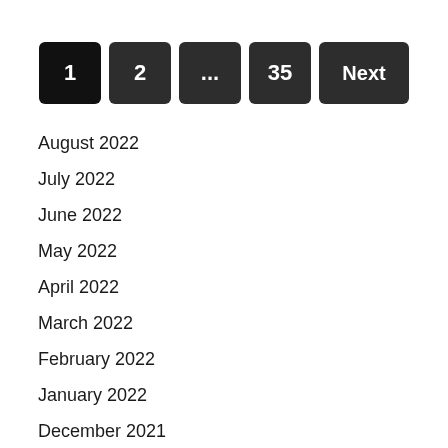[Figure (other): Pagination control with buttons: 1 (active), 2, ..., 35, Next]
August 2022
July 2022
June 2022
May 2022
April 2022
March 2022
February 2022
January 2022
December 2021